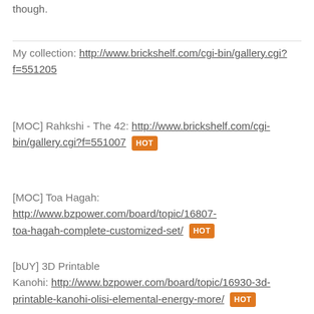though.
My collection: http://www.brickshelf.com/cgi-bin/gallery.cgi?f=551205
[MOC] Rahkshi - The 42: http://www.brickshelf.com/cgi-bin/gallery.cgi?f=551007 HOT
[MOC] Toa Hagah: http://www.bzpower.com/board/topic/16807-toa-hagah-complete-customized-set/ HOT
[bUY] 3D Printable Kanohi: http://www.bzpower.com/board/topic/16930-3d-printable-kanohi-olisi-elemental-energy-more/ HOT